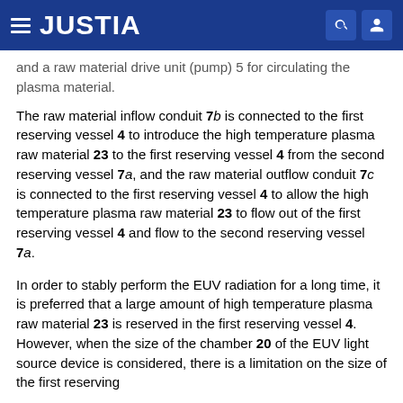JUSTIA
and a raw material drive unit (pump) 5 for circulating the plasma material.
The raw material inflow conduit 7b is connected to the first reserving vessel 4 to introduce the high temperature plasma raw material 23 to the first reserving vessel 4 from the second reserving vessel 7a, and the raw material outflow conduit 7c is connected to the first reserving vessel 4 to allow the high temperature plasma raw material 23 to flow out of the first reserving vessel 4 and flow to the second reserving vessel 7a.
In order to stably perform the EUV radiation for a long time, it is preferred that a large amount of high temperature plasma raw material 23 is reserved in the first reserving vessel 4. However, when the size of the chamber 20 of the EUV light source device is considered, there is a limitation on the size of the first reserving